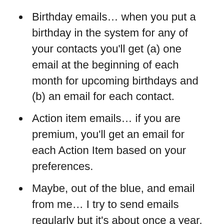Birthday emails… when you put a birthday in the system for any of your contacts you'll get (a) one email at the beginning of each month for upcoming birthdays and (b) an email for each contact.
Action item emails… if you are premium, you'll get an email for each Action Item based on your preferences.
Maybe, out of the blue, and email from me… I try to send emails regularly but it's about once a year.
IF you are getting other emails, spammy stuff, then let me share some thoughts. I was an email admin for a few years and my opinion is